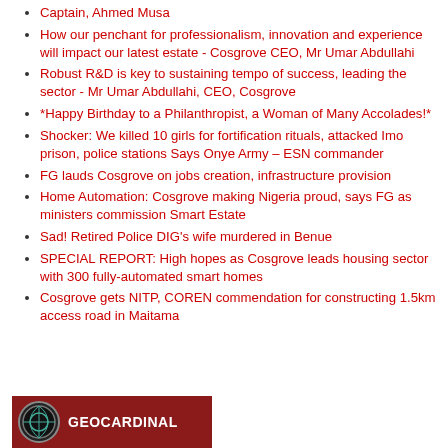Captain, Ahmed Musa
How our penchant for professionalism, innovation and experience will impact our latest estate - Cosgrove CEO, Mr Umar Abdullahi
Robust R&D is key to sustaining tempo of success, leading the sector - Mr Umar Abdullahi, CEO, Cosgrove
*Happy Birthday to a Philanthropist, a Woman of Many Accolades!*
Shocker: We killed 10 girls for fortification rituals, attacked Imo prison, police stations Says Onye Army – ESN commander
FG lauds Cosgrove on jobs creation, infrastructure provision
Home Automation: Cosgrove making Nigeria proud, says FG as ministers commission Smart Estate
Sad! Retired Police DIG's wife murdered in Benue
SPECIAL REPORT: High hopes as Cosgrove leads housing sector with 300 fully-automated smart homes
Cosgrove gets NITP, COREN commendation for constructing 1.5km access road in Maitama
[Figure (logo): Geocardinal logo — dark red background with circular emblem and white text 'GEOCARDINAL']